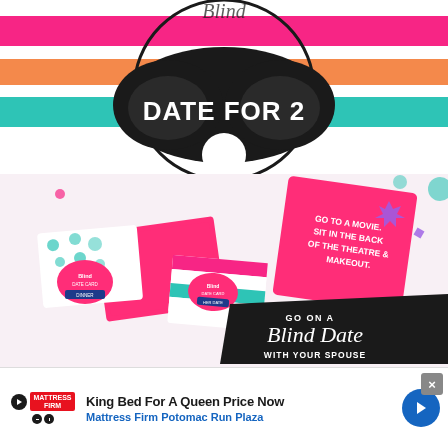[Figure (illustration): Colorful horizontal striped banner (pink, orange, teal, white) with a large black sleep/eye mask graphic in the center circle containing the text 'DATE FOR 2' in white. Above reads partially visible cursive text.]
[Figure (photo): Product photo showing colorful blind date night cards/envelopes in pink, teal, and striped patterns. A hot pink card on the right reads 'GO TO A MOVIE. SIT IN THE BACK OF THE THEATRE & MAKEOUT.' A black ribbon banner reads 'GO ON A Blind Date WITH YOUR SPOUSE' in white text.]
GO TO A MOVIE. SIT IN THE BACK OF THE THEATRE & MAKEOUT.
GO ON A Blind Date WITH YOUR SPOUSE
[Figure (infographic): Advertisement banner at bottom: Mattress Firm logo on left, text 'King Bed For A Queen Price Now' in bold black, 'Mattress Firm Potomac Run Plaza' in blue below, navigation arrow button on right, close X button in corner.]
King Bed For A Queen Price Now
Mattress Firm Potomac Run Plaza